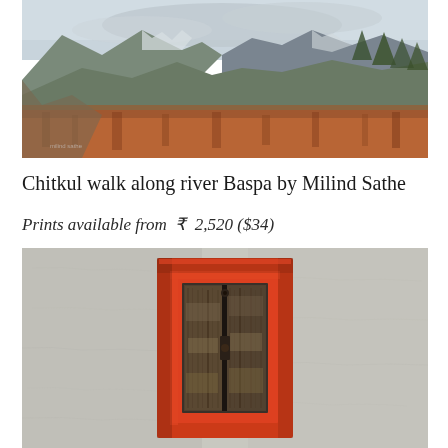[Figure (photo): Landscape photo of Chitkul valley with mountains, a river valley, grassy fields with reddish-brown vegetation in the foreground, rocky slopes and snow-capped mountains in the background under a cloudy sky.]
Chitkul walk along river Baspa by Milind Sathe
Prints available from  ₹  2,520 ($34)
[Figure (photo): Close-up photo of a small wooden window or hatch with a bright red-orange painted frame set into a whitewashed stone or plaster wall. The wooden shutters are partially open showing dark weathered wood.]